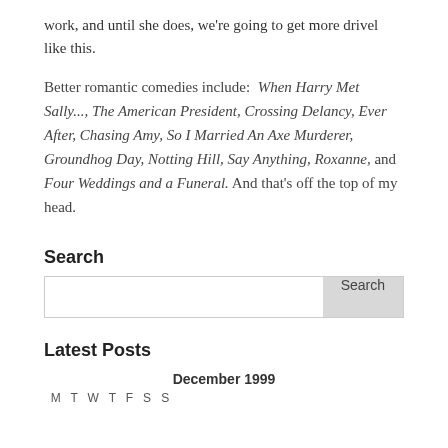work, and until she does, we're going to get more drivel like this.
Better romantic comedies include: When Harry Met Sally..., The American President, Crossing Delancy, Ever After, Chasing Amy, So I Married An Axe Murderer, Groundhog Day, Notting Hill, Say Anything, Roxanne, and Four Weddings and a Funeral. And that's off the top of my head.
Search
[Search box]
Latest Posts
December 1999
M  T  W  T  F  S  S